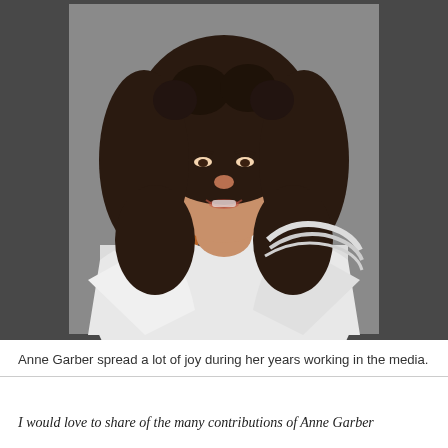[Figure (photo): Portrait photo of Anne Garber, a woman with long curly dark hair, wearing a white jacket and a multicolored striped scarf, smiling at the camera. Background is dark gray.]
Anne Garber spread a lot of joy during her years working in the media.
I would love to share of the many contributions of Anne Garber